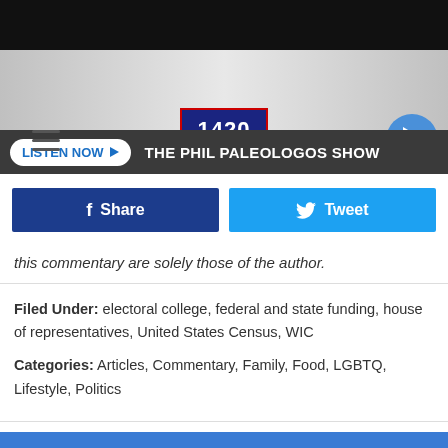[Figure (screenshot): 1420 WBSM radio station logo in blue and red]
LISTEN NOW ▶  THE PHIL PALEOLOGOS SHOW
[Figure (infographic): Facebook Share button and Twitter Tweet button]
this commentary are solely those of the author.
Filed Under: electoral college, federal and state funding, house of representatives, United States Census, WIC
Categories: Articles, Commentary, Family, Food, LGBTQ, Lifestyle, Politics
Comments
LEAVE A COMMENT